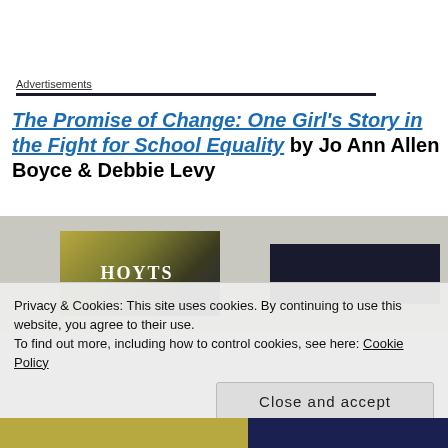Advertisements
The Promise of Change: One Girl’s Story in the Fight for School Equality by Jo Ann Allen Boyce & Debbie Levy
[Figure (photo): Book cover photo on a grey wooden background showing the spine of a book with yellow-green and dark patterning, and a dark navy bar to the right.]
Privacy & Cookies: This site uses cookies. By continuing to use this website, you agree to their use.
To find out more, including how to control cookies, see here: Cookie Policy
Close and accept